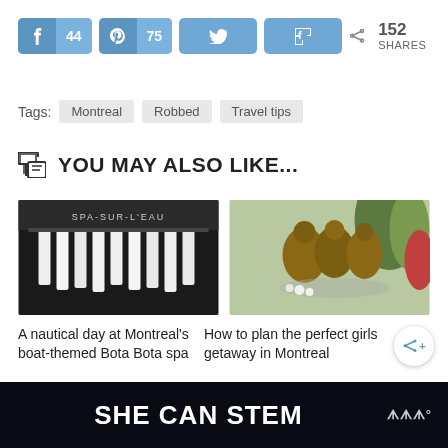[Figure (screenshot): Social share buttons: Facebook (44), Pinterest (75), Twitter (icon only), Flipboard (icon only), and total 152 SHARES]
Tags: Montreal  Robbed  Travel tips
YOU MAY ALSO LIKE...
[Figure (photo): Photo of Spa-Sur-L'Eau exterior with white robes hanging]
[Figure (photo): Bronze sculpture of three women sitting together outdoors]
A nautical day at Montreal's boat-themed Bota Bota spa
How to plan the perfect girls getaway in Montreal
30 DEC. 2020
8 SEP. 2015
[Figure (screenshot): Bottom banner advertisement with text SHE CAN STEM and a logo on right side]